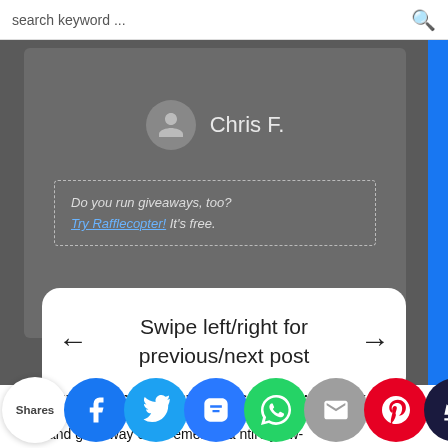search keyword ...
[Figure (screenshot): Screenshot of a blog/website UI showing a dark overlay card with user profile (Chris F.) and a Rafflecopter giveaway widget with dashed border. A white modal popup says 'Swipe left/right for previous/next post' with left and right arrows.]
Do you run giveaways, too? Try Rafflecopter! It's free.
Swipe left/right for previous/next post
Readers should be aware that I was sent Jungle Formula products for the purpose of testing them out before and giveaway or-ex- emen-ema- ntirely ow-
[Figure (infographic): Social share bar with Shares label and colored circular buttons: Facebook (blue), Twitter (blue), SMS (blue), WhatsApp (green), Email (gray), Pinterest (red), and a dark crown icon button.]